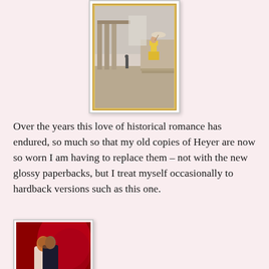[Figure (illustration): A hardback book cover showing a Regency-era street scene with classical columns and a woman in a yellow dress]
Over the years this love of historical romance has endured, so much so that my old copies of Heyer are now so worn I am having to replace them – not with the new glossy paperbacks, but I treat myself occasionally to hardback versions such as this one.
[Figure (illustration): A romance novel paperback cover titled 'Scarlet Rebel' showing a couple embracing against a red background]